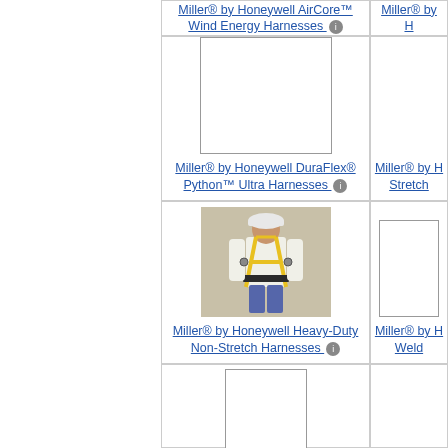Miller® by Honeywell AirCore™ Wind Energy Harnesses
[Figure (photo): Empty product image placeholder for DuraFlex Python Ultra Harnesses]
Miller® by Honeywell DuraFlex® Python™ Ultra Harnesses
[Figure (photo): Photo of a person wearing a yellow Miller by Honeywell Heavy-Duty Non-Stretch Harness with white hard hat]
Miller® by Honeywell Heavy-Duty Non-Stretch Harnesses
Miller® by Honeywell Welding Harnesses (partial, cut off)
[Figure (photo): Partial product image placeholder visible at bottom of page]